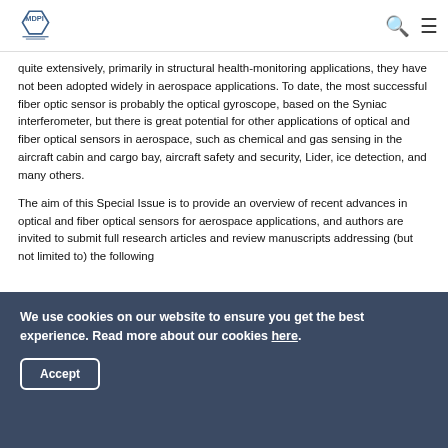MDPI
quite extensively, primarily in structural health-monitoring applications, they have not been adopted widely in aerospace applications. To date, the most successful fiber optic sensor is probably the optical gyroscope, based on the Syniac interferometer, but there is great potential for other applications of optical and fiber optical sensors in aerospace, such as chemical and gas sensing in the aircraft cabin and cargo bay, aircraft safety and security, Lider, ice detection, and many others.
The aim of this Special Issue is to provide an overview of recent advances in optical and fiber optical sensors for aerospace applications, and authors are invited to submit full research articles and review manuscripts addressing (but not limited to) the following
We use cookies on our website to ensure you get the best experience. Read more about our cookies here.
Accept